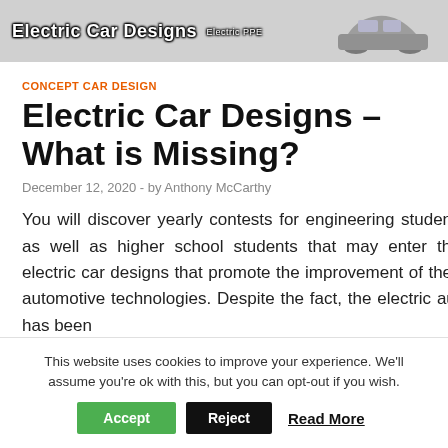[Figure (photo): Electric Car Designs website header banner with logo text and car silhouette on grey background]
CONCEPT CAR DESIGN
Electric Car Designs – What is Missing?
December 12, 2020  -  by Anthony McCarthy
You will discover yearly contests for engineering students, as well as higher school students that may enter their electric car designs that promote the improvement of these automotive technologies. Despite the fact, the electric auto has been
This website uses cookies to improve your experience. We'll assume you're ok with this, but you can opt-out if you wish.